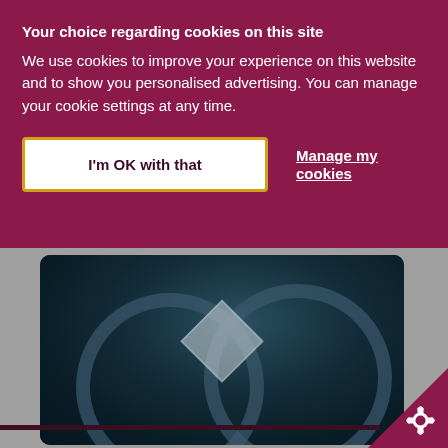Your choice regarding cookies on this site
We use cookies to improve your experience on this website and to show you personalised advertising. You can manage your cookie settings at any time.
I'm OK with that
Manage my cookies
[Figure (photo): Blurred dark teal image with overlapping circular shapes and a diamond/rhombus shape in the center, likely a close-up of an object or logo]